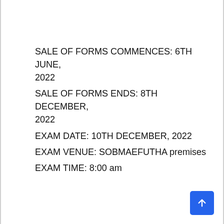SALE OF FORMS COMMENCES: 6TH JUNE, 2022
SALE OF FORMS ENDS: 8TH DECEMBER, 2022
EXAM DATE: 10TH DECEMBER, 2022
EXAM VENUE: SOBMAEFUTHA premises
EXAM TIME: 8:00 am